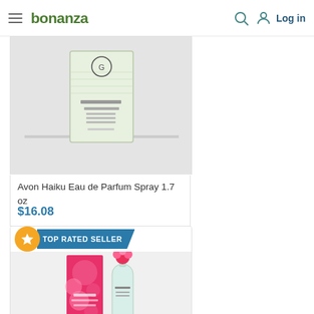bonanza  Log in
[Figure (photo): Avon Haiku Eau de Parfum Spray 1.7 oz product box with green floral design on white/light green background]
Avon Haiku Eau de Parfum Spray 1.7 oz
$16.08
TOP RATED SELLER
[Figure (photo): Pleasures Bloom perfume product with pink floral bottle and pink box with flowers]